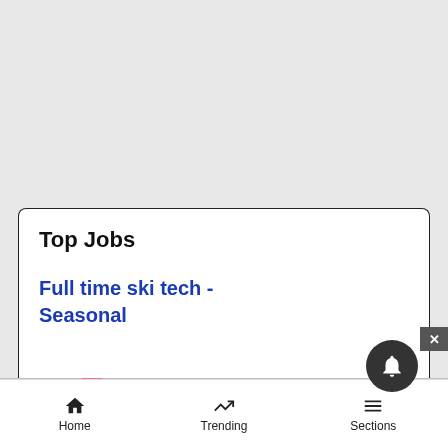Top Jobs
Full time ski tech - Seasonal
[Figure (screenshot): MAC cosmetics advertisement banner showing lipsticks in purple, pink, and red colors with MAC logo and SHOP NOW button]
Home | Trending | Sections